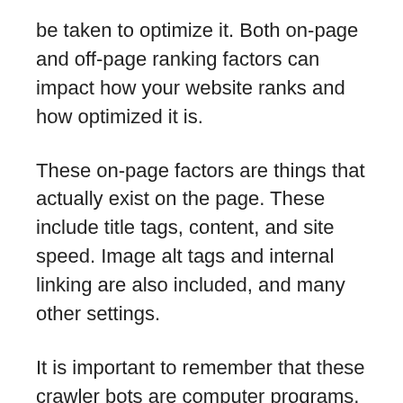be taken to optimize it. Both on-page and off-page ranking factors can impact how your website ranks and how optimized it is.
These on-page factors are things that actually exist on the page. These include title tags, content, and site speed. Image alt tags and internal linking are also included, and many other settings.
It is important to remember that these crawler bots are computer programs, not actual humans.